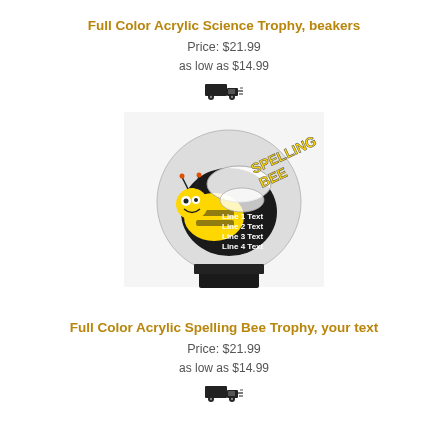Full Color Acrylic Science Trophy, beakers
Price: $21.99
as low as $14.99
[Figure (illustration): Black truck/shipping icon with speed lines]
[Figure (photo): Full Color Acrylic Spelling Bee Trophy showing a bee character with 'Spelling Bee' text and customizable text lines on a black base]
Full Color Acrylic Spelling Bee Trophy, your text
Price: $21.99
as low as $14.99
[Figure (illustration): Black truck/shipping icon with speed lines]